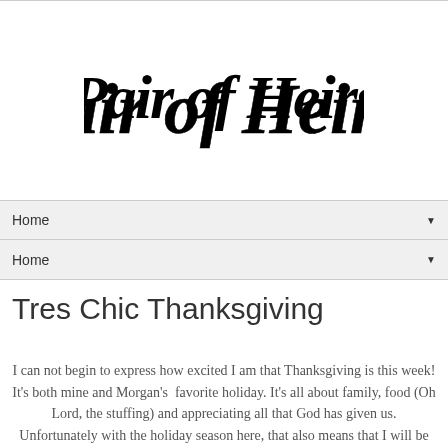[Figure (logo): Pair of Heirs cursive script logo in black]
Home ▼
Home ▼
Tres Chic Thanksgiving
I can not begin to express how excited I am that Thanksgiving is this week! It's both mine and Morgan's  favorite holiday. It's all about family, food (Oh Lord, the stuffing) and appreciating all that God has given us. Unfortunately with the holiday season here, that also means that I will be frantically racing to complete projects and